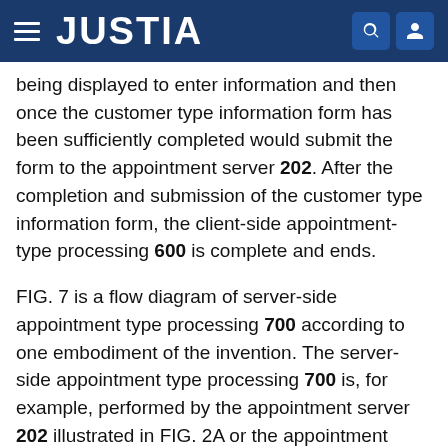JUSTIA
being displayed to enter information and then once the customer type information form has been sufficiently completed would submit the form to the appointment server 202. After the completion and submission of the customer type information form, the client-side appointment-type processing 600 is complete and ends.
FIG. 7 is a flow diagram of server-side appointment type processing 700 according to one embodiment of the invention. The server-side appointment type processing 700 is, for example, performed by the appointment server 202 illustrated in FIG. 2A or the appointment server 250 illustrated in FIG. 2B.
The server-side appointment type processing 700 represents optional processing associated with the server-side on-line appointment processing 500